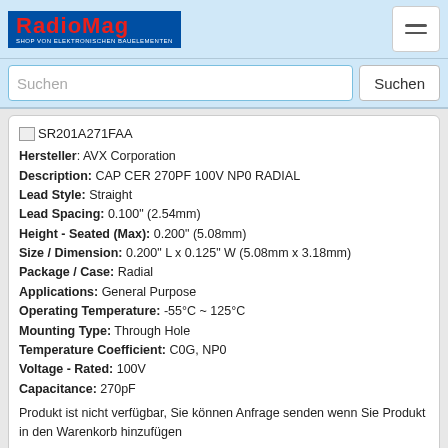RADIOMAG - SHOP VON ELEKTRONISCHEN BAUELEMENTEN
Suchen
SR201A271FAA
Hersteller: AVX Corporation
Description: CAP CER 270PF 100V NP0 RADIAL
Lead Style: Straight
Lead Spacing: 0.100" (2.54mm)
Height - Seated (Max): 0.200" (5.08mm)
Size / Dimension: 0.200" L x 0.125" W (5.08mm x 3.18mm)
Package / Case: Radial
Applications: General Purpose
Operating Temperature: -55°C ~ 125°C
Mounting Type: Through Hole
Temperature Coefficient: C0G, NP0
Voltage - Rated: 100V
Capacitance: 270pF
Produkt ist nicht verfügbar, Sie können Anfrage senden wenn Sie Produkt in den Warenkorb hinzufügen